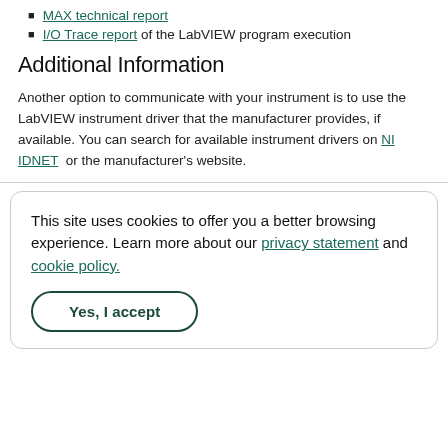MAX technical report
I/O Trace report of the LabVIEW program execution
Additional Information
Another option to communicate with your instrument is to use the LabVIEW instrument driver that the manufacturer provides, if available. You can search for available instrument drivers on NI IDNET or the manufacturer's website.
This site uses cookies to offer you a better browsing experience. Learn more about our privacy statement and cookie policy.
Yes, I accept